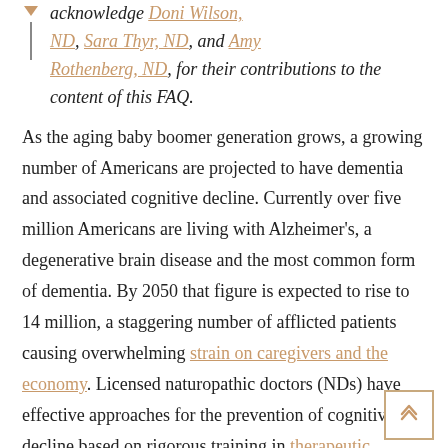acknowledge Doni Wilson, ND, Sara Thyr, ND, and Amy Rothenberg, ND, for their contributions to the content of this FAQ.
As the aging baby boomer generation grows, a growing number of Americans are projected to have dementia and associated cognitive decline. Currently over five million Americans are living with Alzheimer's, a degenerative brain disease and the most common form of dementia. By 2050 that figure is expected to rise to 14 million, a staggering number of afflicted patients causing overwhelming strain on caregivers and the economy. Licensed naturopathic doctors (NDs) have effective approaches for the prevention of cognitive decline based on rigorous training in therapeutic nutrition, behavioral medicine, botanical medicine, homeopathy, and